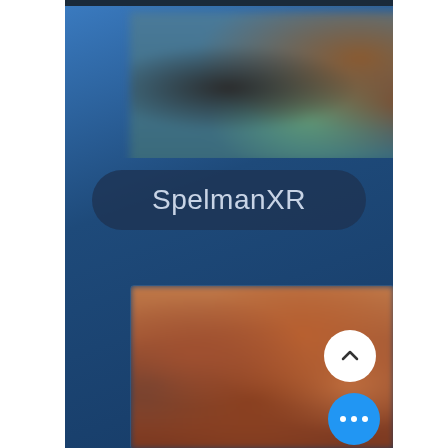[Figure (screenshot): Mobile app screenshot showing SpelmanXR profile page with a blurred top photo, a pill-shaped name label reading 'SpelmanXR', a blurred bottom content thumbnail with an up-arrow button and a blue more-options button]
SpelmanXR